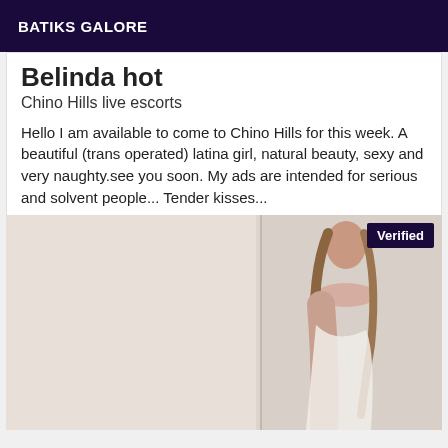BATIKS GALORE
Belinda hot
Chino Hills live escorts
Hello I am available to come to Chino Hills for this week. A beautiful (trans operated) latina girl, natural beauty, sexy and very naughty.see you soon. My ads are intended for serious and solvent people... Tender kisses...
[Figure (photo): Photo of a person with long hair, partially covered, standing against a light background. A 'Verified' badge appears in the top right corner.]